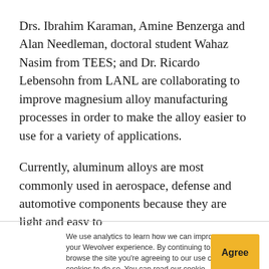Drs. Ibrahim Karaman, Amine Benzerga and Alan Needleman, doctoral student Wahaz Nasim from TEES; and Dr. Ricardo Lebensohn from LANL are collaborating to improve magnesium alloy manufacturing processes in order to make the alloy easier to use for a variety of applications.
Currently, aluminum alloys are most commonly used in aerospace, defense and automotive components because they are light and easy to
We use analytics to learn how we can improve your Wevolver experience. By continuing to browse the site you're agreeing to our use of cookies to do so. You can read our cookie policy here.